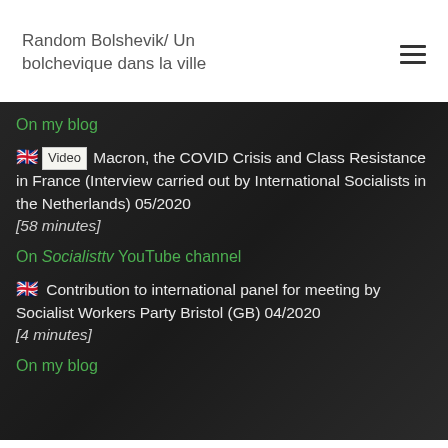Random Bolshevik/ Un bolchevique dans la ville
On my blog
🇬🇧 Video Macron, the COVID Crisis and Class Resistance in France (Interview carried out by International Socialists in the Netherlands) 05/2020 [58 minutes]
On Socialisttv YouTube channel
🇬🇧 Contribution to international panel for meeting by Socialist Workers Party Bristol (GB) 04/2020 [4 minutes]
On my blog